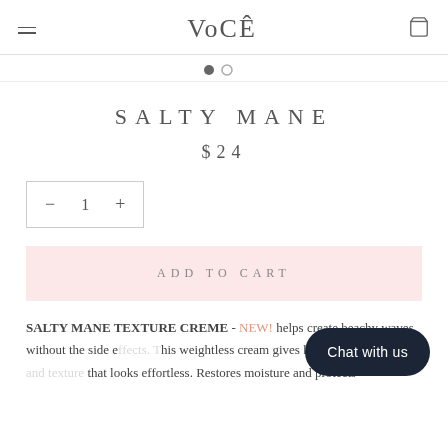VoCÊ
SALTY MANE
$24
− 1 +
ADD TO CART
SALTY MANE TEXTURE CREME - NEW! helps create beachy waves without the side e... his weightless cream gives hair a natural to... that looks effortless. Restores moisture and protects